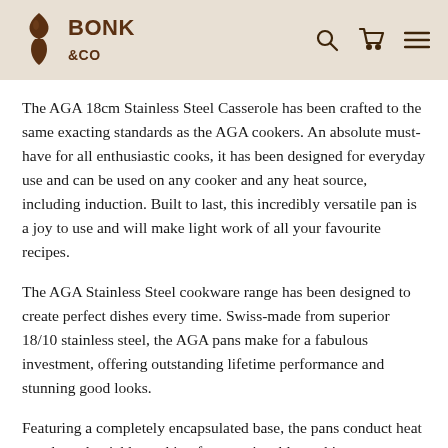BONK & CO
The AGA 18cm Stainless Steel Casserole has been crafted to the same exacting standards as the AGA cookers. An absolute must-have for all enthusiastic cooks, it has been designed for everyday use and can be used on any cooker and any heat source, including induction. Built to last, this incredibly versatile pan is a joy to use and will make light work of all your favourite recipes.
The AGA Stainless Steel cookware range has been designed to create perfect dishes every time. Swiss-made from superior 18/10 stainless steel, the AGA pans make for a fabulous investment, offering outstanding lifetime performance and stunning good looks.
Featuring a completely encapsulated base, the pans conduct heat evenly and quickly, making for an enjoyable cooking experience. Designed to be both stylish and functional, the large casserole handles are easy to grasp,